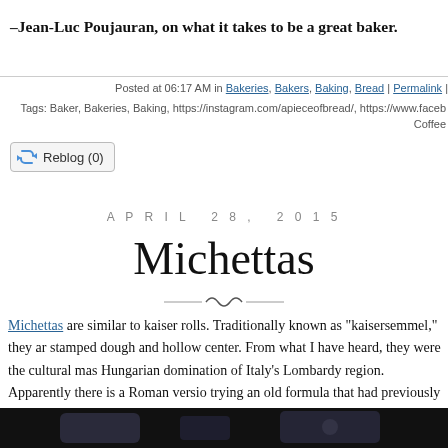–Jean-Luc Poujauran, on what it takes to be a great baker.
Posted at 06:17 AM in Bakeries, Bakers, Baking, Bread | Permalink |
Tags: Baker, Bakeries, Baking, https://instagram.com/apieceofbread/, https://www.faceb... Coffee...
Reblog (0)
APRIL 28, 2015
Michettas
Michettas are similar to kaiser rolls. Traditionally known as "kaisersemmel," they ar... stamped dough and hollow center. From what I have heard, they were the cultural mas... Hungarian domination of Italy's Lombardy region. Apparently there is a Roman versio... trying an old formula that had previously given me "issues," I reworked it recently. Th... far as lacking a hollow center. But they weren't bad.
[Figure (photo): Dark photo of baked bread rolls, Michettas, on a surface]